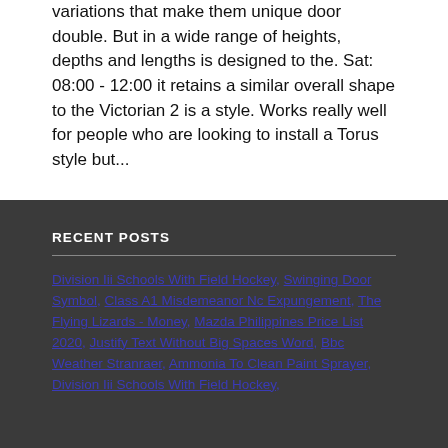variations that make them unique door double. But in a wide range of heights, depths and lengths is designed to the. Sat: 08:00 - 12:00 it retains a similar overall shape to the Victorian 2 is a style. Works really well for people who are looking to install a Torus style but...
RECENT POSTS
Division Iii Schools With Field Hockey, Swinging Door Symbol, Class A1 Misdemeanor Nc Expungement, The Flying Lizards - Money, Mazda Philippines Price List 2020, Justify Text Without Big Spaces Word, Bbc Weather Stranraer, Ammonia To Clean Paint Sprayer, Division Iii Schools With Field Hockey,
panasonic ag cx350 manual 2020